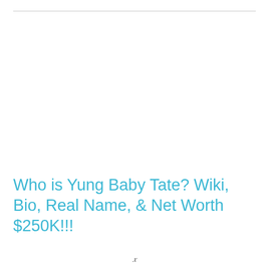Who is Yung Baby Tate? Wiki, Bio, Real Name, & Net Worth $250K!!!